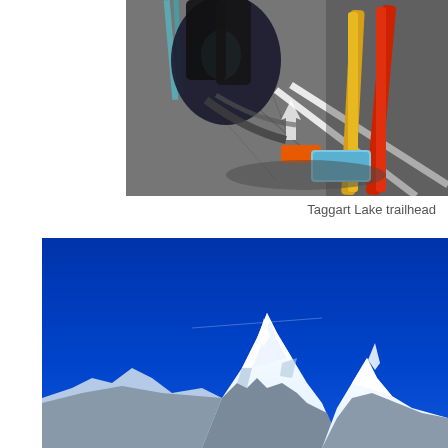[Figure (photo): Overhead view of ski equipment, backpacks, and gear laid out on asphalt pavement at a trailhead. Visible items include skis (yellow/orange and red), trekking poles, backpacks with teal/turquoise accents, and a blue foam pad. Shadows are cast on the ground. White parking lot line markings are visible.]
Taggart Lake trailhead
[Figure (photo): Wide angle upward view of snow-capped jagged mountain peaks (likely the Teton Range) against a vivid deep blue sky. The peaks are covered in snow and ice, with large rocky formations visible at the base of the frame.]